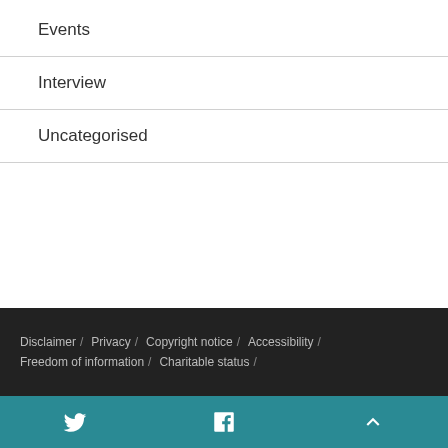Events
Interview
Uncategorised
Disclaimer / Privacy / Copyright notice / Accessibility / Freedom of information / Charitable status /